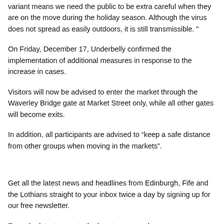variant means we need the public to be extra careful when they are on the move during the holiday season. Although the virus does not spread as easily outdoors, it is still transmissible. "
On Friday, December 17, Underbelly confirmed the implementation of additional measures in response to the increase in cases.
Visitors will now be advised to enter the market through the Waverley Bridge gate at Market Street only, while all other gates will become exits.
In addition, all participants are advised to “keep a safe distance from other groups when moving in the markets”.
Get all the latest news and headlines from Edinburgh, Fife and the Lothians straight to your inbox twice a day by signing up for our free newsletter.
From the latest news to the latest news on the